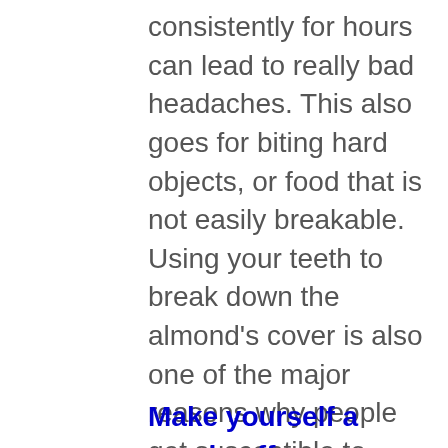consistently for hours can lead to really bad headaches. This also goes for biting hard objects, or food that is not easily breakable. Using your teeth to break down the almond’s cover is also one of the major reasons why people get susceptible to headaches. Also, avoid biting your fingernails, or toenails with your teeth’ it is highly unhygienic on one end and a trigger to your next migraine trip. BE CAUTIOUS!
Make yourself a good coffee